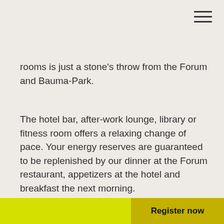rooms is just a stone's throw from the Forum and Bauma-Park.
The hotel bar, after-work lounge, library or fitness room offers a relaxing change of pace. Your energy reserves are guaranteed to be replenished by our dinner at the Forum restaurant, appetizers at the hotel and breakfast the next morning.
Hotelrooms
Register now